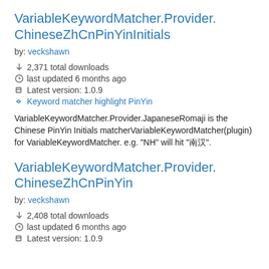VariableKeywordMatcher.Provider.ChineseZhCnPinYinInitials
by: veckshawn
2,371 total downloads
last updated 6 months ago
Latest version: 1.0.9
Keyword matcher highlight PinYin
VariableKeywordMatcher.Provider.JapaneseRomaji is the Chinese PinYin Initials matcherVariableKeywordMatcher(plugin) for VariableKeywordMatcher. e.g. "NH" will hit "南汉".
VariableKeywordMatcher.Provider.ChineseZhCnPinYin
by: veckshawn
2,408 total downloads
last updated 6 months ago
Latest version: 1.0.9